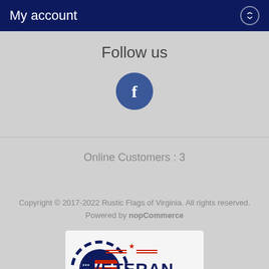My account
Follow us
[Figure (illustration): Facebook logo icon — white letter f on a dark blue circle]
Online Customers : 3
Copyright © 2017-2022 Rustic Flags of Virginia. All rights reserved.
Powered by nopCommerce
[Figure (logo): Veteran Owned and Operated badge with American flag circular emblem on the left and bold text VETERAN OWNED AND OPERATED on the right]